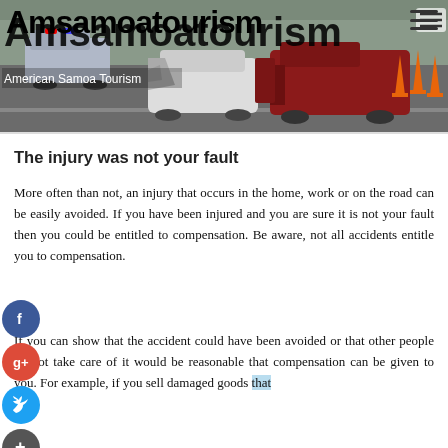Amsamoatourism — American Samoa Tourism
[Figure (photo): Car accident scene showing a white sedan and a red pickup truck severely damaged at a road intersection, with traffic cones visible in the background.]
The injury was not your fault
More often than not, an injury that occurs in the home, work or on the road can be easily avoided. If you have been injured and you are sure it is not your fault then you could be entitled to compensation. Be aware, not all accidents entitle you to compensation.
If you can show that the accident could have been avoided or that other people do not take care of it would be reasonable that compensation can be given to you. For example, if you sell damaged goods that